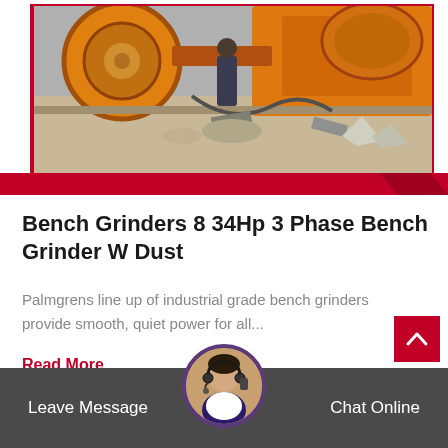[Figure (photo): Construction site with orange industrial grinder/saw machinery and debris on the ground]
Bench Grinders 8 34Hp 3 Phase Bench Grinder W Dust
Palmgrens line up of industrial grade bench grinders provide smooth, quiet power for all...
Read More
Leave Message
Chat Online